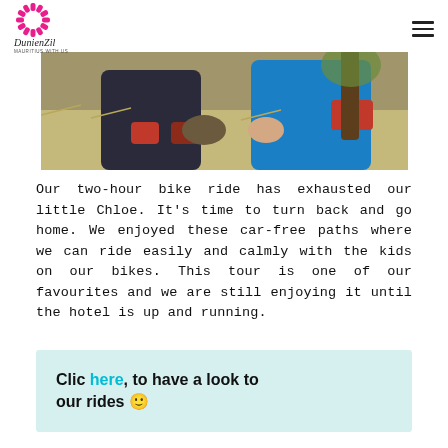DunienZil — Mauritius with us
[Figure (photo): Two children on a bike ride holding something in their hands, outdoors among dry grass and trees. One wears dark clothing with red gloves, the other wears a blue and red long-sleeve top.]
Our two-hour bike ride has exhausted our little Chloe. It's time to turn back and go home. We enjoyed these car-free paths where we can ride easily and calmly with the kids on our bikes. This tour is one of our favourites and we are still enjoying it until the hotel is up and running.
Clic here, to have a look to our rides 🙂